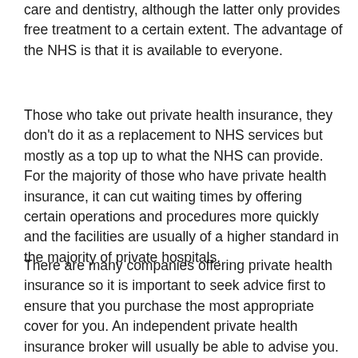care and dentistry, although the latter only provides free treatment to a certain extent. The advantage of the NHS is that it is available to everyone.
Those who take out private health insurance, they don't do it as a replacement to NHS services but mostly as a top up to what the NHS can provide. For the majority of those who have private health insurance, it can cut waiting times by offering certain operations and procedures more quickly and the facilities are usually of a higher standard in the majority of private hospitals.
There are many companies offering private health insurance so it is important to seek advice first to ensure that you purchase the most appropriate cover for you. An independent private health insurance broker will usually be able to advise you.